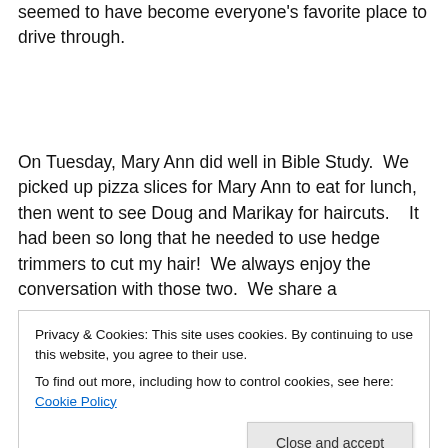seemed to have become everyone's favorite place to drive through.
On Tuesday, Mary Ann did well in Bible Study.  We picked up pizza slices for Mary Ann to eat for lunch, then went to see Doug and Marikay for haircuts.   It had been so long that he needed to use hedge trimmers to cut my hair!  We always enjoy the conversation with those two.  We share a
Privacy & Cookies: This site uses cookies. By continuing to use this website, you agree to their use.
To find out more, including how to control cookies, see here: Cookie Policy
little errands, I spent time again parked in the beautiful